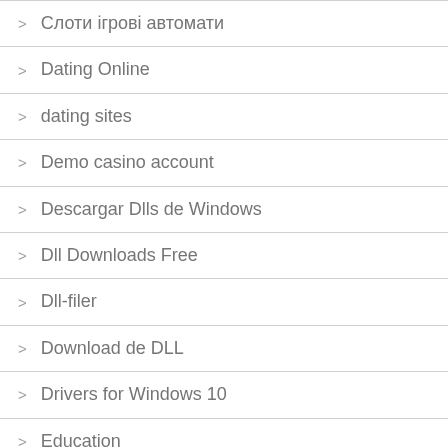Слоти ігрові автомати
Dating Online
dating sites
Demo casino account
Descargar Dlls de Windows
Dll Downloads Free
Dll-filer
Download de DLL
Drivers for Windows 10
Education